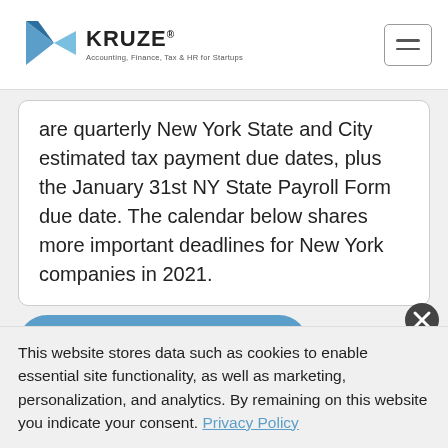KRUZE — Accounting, Finance, Tax & HR for Startups
are quarterly New York State and City estimated tax payment due dates, plus the January 31st NY State Payroll Form due date. The calendar below shares more important deadlines for New York companies in 2021.
HIRE A STARTUP TAX PRO
CLICK THE LINKS TO LEARN MORE ABOUT
This website stores data such as cookies to enable essential site functionality, as well as marketing, personalization, and analytics. By remaining on this website you indicate your consent. Privacy Policy